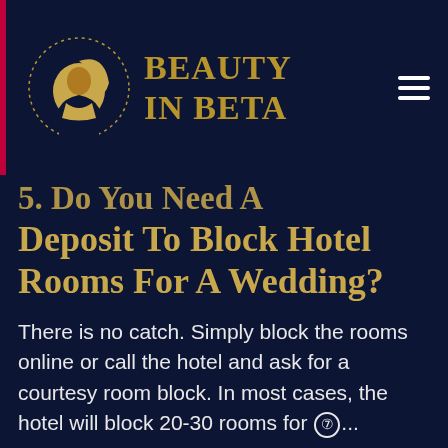BEAUTY IN BETA
5. Do You Need A Deposit To Block Hotel Rooms For A Wedding?
There is no catch. Simply block the rooms online or call the hotel and ask for a courtesy room block. In most cases, the hotel will block 20-30 rooms for ⑦...
If you need to block less than 20 rooms per night, consider getting a courtesy room block. This is where the